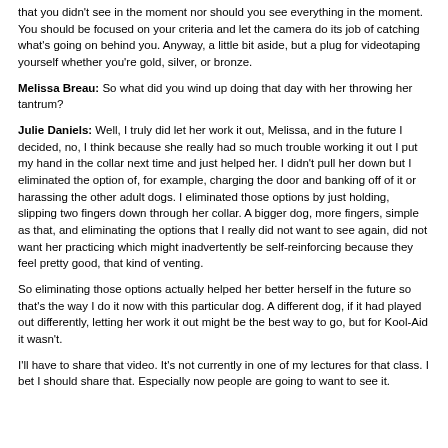that you didn't see in the moment nor should you see everything in the moment. You should be focused on your criteria and let the camera do its job of catching what's going on behind you. Anyway, a little bit aside, but a plug for videotaping yourself whether you're gold, silver, or bronze.
Melissa Breau: So what did you wind up doing that day with her throwing her tantrum?
Julie Daniels: Well, I truly did let her work it out, Melissa, and in the future I decided, no, I think because she really had so much trouble working it out I put my hand in the collar next time and just helped her. I didn't pull her down but I eliminated the option of, for example, charging the door and banking off of it or harassing the other adult dogs. I eliminated those options by just holding, slipping two fingers down through her collar. A bigger dog, more fingers, simple as that, and eliminating the options that I really did not want to see again, did not want her practicing which might inadvertently be self-reinforcing because they feel pretty good, that kind of venting.
So eliminating those options actually helped her better herself in the future so that's the way I do it now with this particular dog. A different dog, if it had played out differently, letting her work it out might be the best way to go, but for Kool-Aid it wasn't.
I'll have to share that video. It's not currently in one of my lectures for that class. I bet I should share that. Especially now people are going to want to see it.